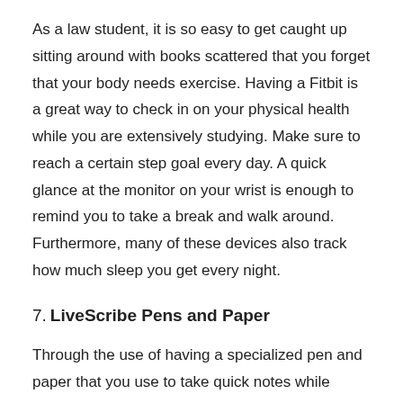As a law student, it is so easy to get caught up sitting around with books scattered that you forget that your body needs exercise. Having a Fitbit is a great way to check in on your physical health while you are extensively studying. Make sure to reach a certain step goal every day. A quick glance at the monitor on your wrist is enough to remind you to take a break and walk around. Furthermore, many of these devices also track how much sleep you get every night.
7. LiveScribe Pens and Paper
Through the use of having a specialized pen and paper that you use to take quick notes while listening to a professor. Using these pens and special dot paper allows you to take physical notes that can easily be transferred to digital without any extra work by you. LiveScribe Pens and Paper